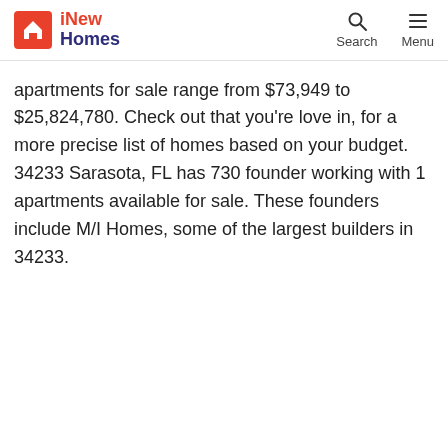iNew Homes — Search — Menu
apartments for sale range from $73,949 to $25,824,780. Check out that you're love in, for a more precise list of homes based on your budget. 34233 Sarasota, FL has 730 founder working with 1 apartments available for sale. These founders include M/I Homes, some of the largest builders in 34233.